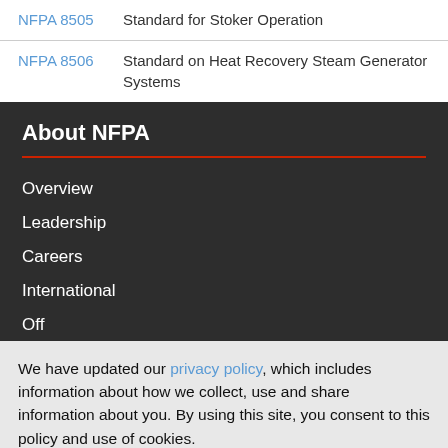NFPA 8505   Standard for Stoker Operation
NFPA 8506   Standard on Heat Recovery Steam Generator Systems
About NFPA
Overview
Leadership
Careers
International
We have updated our privacy policy, which includes information about how we collect, use and share information about you. By using this site, you consent to this policy and use of cookies.
I Agree